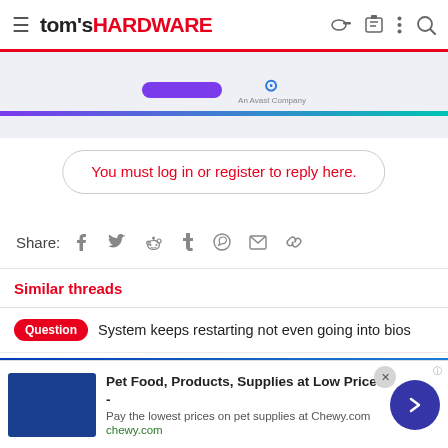tom's HARDWARE
[Figure (screenshot): Advertisement banner with purple button and Avast logo, teal gradient bar at bottom]
You must log in or register to reply here.
Share:
Similar threads
Question  System keeps restarting not even going into bios
[Figure (screenshot): Best Buy advertisement: Save up to $300, with laptop showing GestureRobotics presentation]
[Figure (screenshot): Bottom sticky ad: Pet Food, Products, Supplies at Low Prices - chewy.com with next arrow button]